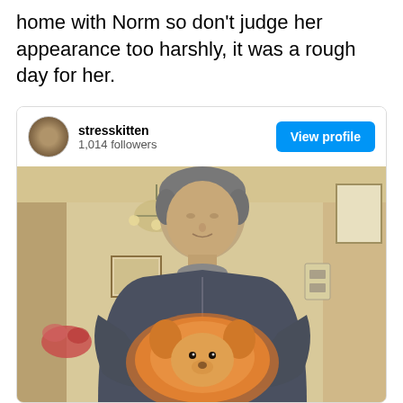home with Norm so don't judge her appearance too harshly, it was a rough day for her.
[Figure (screenshot): Screenshot of an Instagram/social media post by user 'stresskitten' with 1,014 followers showing a View Profile button and a photo of a middle-aged man with gray hair holding a fluffy Pomeranian dog in what appears to be a home interior with chandelier visible in background.]